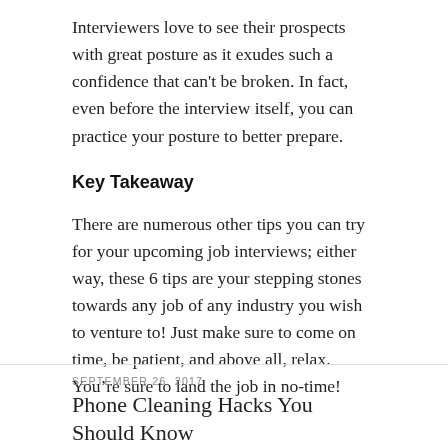Interviewers love to see their prospects with great posture as it exudes such a confidence that can't be broken. In fact, even before the interview itself, you can practice your posture to better prepare.
Key Takeaway
There are numerous other tips you can try for your upcoming job interviews; either way, these 6 tips are your stepping stones towards any job of any industry you wish to venture to! Just make sure to come on time, be patient, and above all, relax. You’re sure to land the job in no-time!
SEPTEMBER 26, 2017
Phone Cleaning Hacks You Should Know